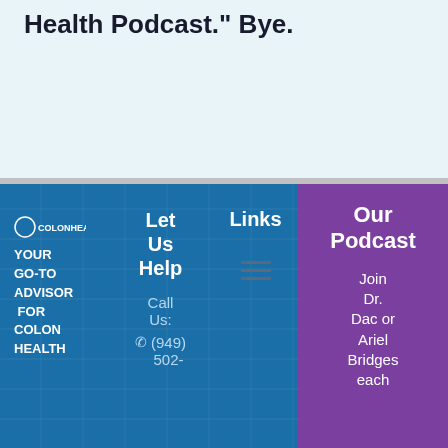Health Podcast." Bye.
Let Us Help
Links
Our Podcast
YOUR GO-TO ADVISOR FOR COLON HEALTH
Call Us:
(949) 502-
Join Dr. Dac or Ariel Bridges each